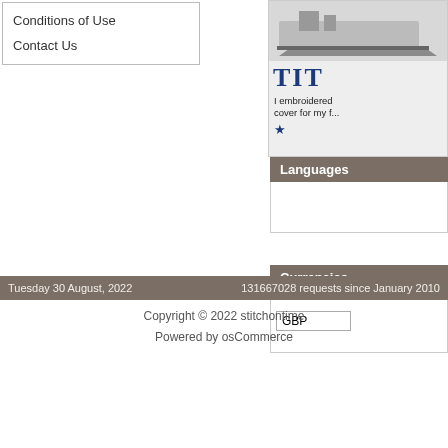Conditions of Use
Contact Us
[Figure (illustration): Partial view of a Titanic cross-stitch embroidery product preview, showing a ship illustration and blue 'TIT...' title text, with partial review text and star rating.]
Languages
Currencies
GBP
Tuesday 30 August, 2022   131667028 requests since January 2010
Copyright © 2022 stitchontime
Powered by osCommerce